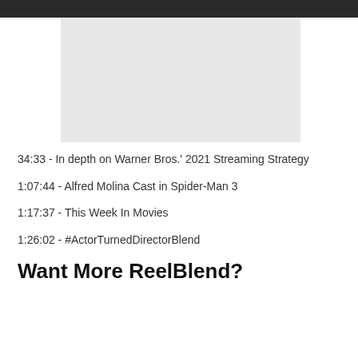[Figure (screenshot): Dark top navigation bar with a video thumbnail placeholder (light gray rectangle)]
34:33 - In depth on Warner Bros.' 2021 Streaming Strategy
1:07:44 - Alfred Molina Cast in Spider-Man 3
1:17:37 - This Week In Movies
1:26:02 - #ActorTurnedDirectorBlend
Want More ReelBlend?